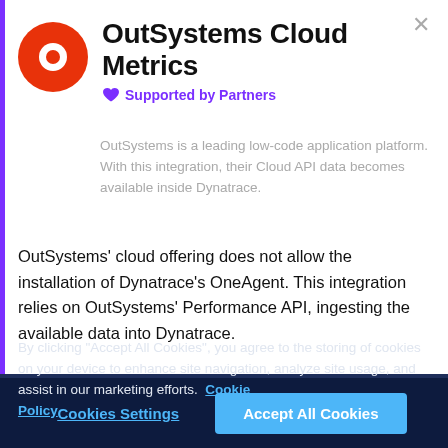OutSystems Cloud Metrics
Supported by Partners
OutSystems is a leading low-code application platform. With this integration, their Cloud API data becomes available inside Dynatrace.
OutSystems' cloud offering does not allow the installation of Dynatrace's OneAgent. This integration relies on OutSystems' Performance API, ingesting the available data into Dynatrace.
By clicking "Accept All Cookies", you agree to the storing of cookies on your device to enhance site navigation, analyze site usage, and assist in our marketing efforts. Cookie Policy
Cookies Settings
Accept All Cookies